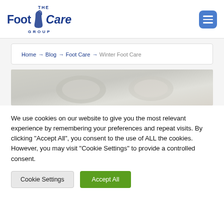[Figure (logo): The Foot Care Group logo in dark blue with stylized foot illustration]
Home → Blog → Foot Care → Winter Foot Care
[Figure (photo): Close-up photo of feet in snow or wintry setting, light gray tones]
We use cookies on our website to give you the most relevant experience by remembering your preferences and repeat visits. By clicking "Accept All", you consent to the use of ALL the cookies. However, you may visit "Cookie Settings" to provide a controlled consent.
Cookie Settings
Accept All